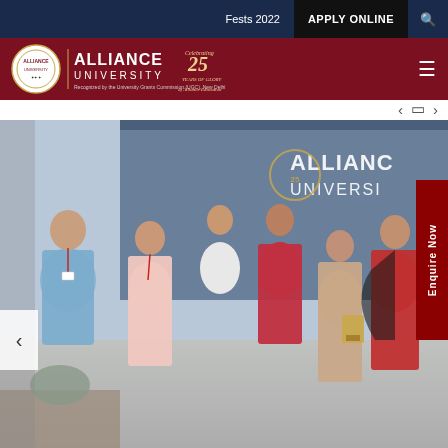Fests 2022   APPLY ONLINE
[Figure (logo): Alliance University logo with circular emblem, text ALLIANCE UNIVERSITY, and Celebrating 25 Years of Alliance Education tagline on dark red background]
[Figure (photo): Group photo of students and faculty at Alliance University event. A woman in a red saree presents a trophy/award to a student in a peach salwar. Multiple students in red shirts stand behind them in front of an Alliance University banner.]
Enquire Now